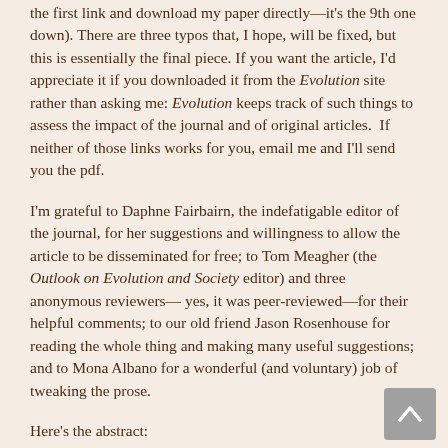the first link and download my paper directly—it's the 9th one down). There are three typos that, I hope, will be fixed, but this is essentially the final piece. If you want the article, I'd appreciate it if you downloaded it from the Evolution site rather than asking me: Evolution keeps track of such things to assess the impact of the journal and of original articles.  If neither of those links works for you, email me and I'll send you the pdf.
I'm grateful to Daphne Fairbairn, the indefatigable editor of the journal, for her suggestions and willingness to allow the article to be disseminated for free; to Tom Meagher (the Outlook on Evolution and Society editor) and three anonymous reviewers—yes, it was peer-reviewed—for their helpful comments; to our old friend Jason Rosenhouse for reading the whole thing and making many useful suggestions; and to Mona Albano for a wonderful (and voluntary) job of tweaking the prose.
Here's the abstract:
American resistance to accepting evolution is uniquely high among First World countries. This is due largely to the